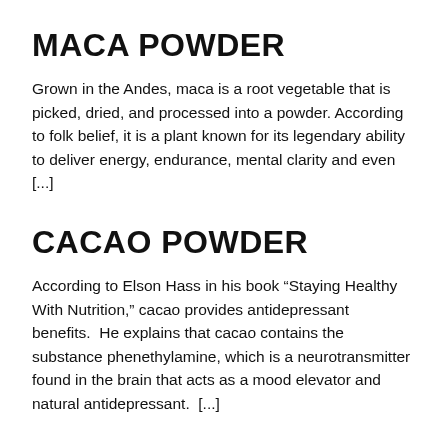MACA POWDER
Grown in the Andes, maca is a root vegetable that is picked, dried, and processed into a powder. According to folk belief, it is a plant known for its legendary ability to deliver energy, endurance, mental clarity and even [...]
CACAO POWDER
According to Elson Hass in his book “Staying Healthy With Nutrition,” cacao provides antidepressant benefits.  He explains that cacao contains the substance phenethylamine, which is a neurotransmitter found in the brain that acts as a mood elevator and natural antidepressant.  [...]